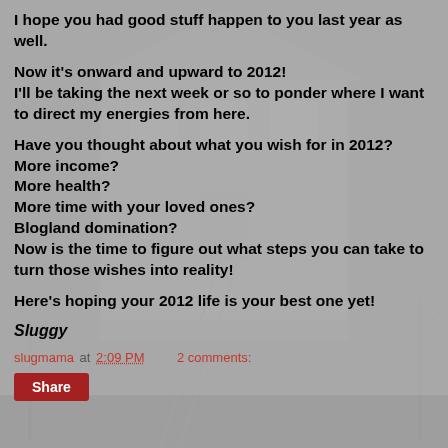I hope you had good stuff happen to you last year as well.
Now it's onward and upward to 2012!
I'll be taking the next week or so to ponder where I want to direct my energies from here.
Have you thought about what you wish for in 2012?
More income?
More health?
More time with your loved ones?
Blogland domination?
Now is the time to figure out what steps you can take to turn those wishes into reality!
Here's hoping your 2012 life is your best one yet!
Sluggy
slugmama at 2:09 PM    2 comments:
Share